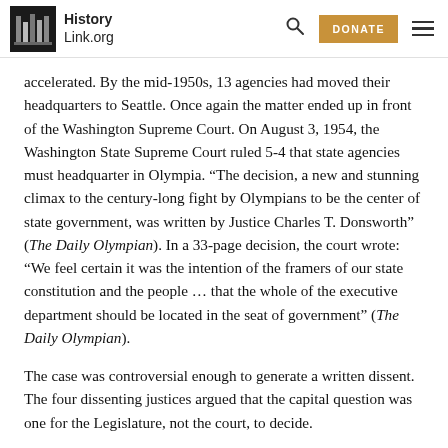HistoryLink.org
accelerated. By the mid-1950s, 13 agencies had moved their headquarters to Seattle. Once again the matter ended up in front of the Washington Supreme Court. On August 3, 1954, the Washington State Supreme Court ruled 5-4 that state agencies must headquarter in Olympia. “The decision, a new and stunning climax to the century-long fight by Olympians to be the center of state government, was written by Justice Charles T. Donsworth” (The Daily Olympian). In a 33-page decision, the court wrote: “We feel certain it was the intention of the framers of our state constitution and the people … that the whole of the executive department should be located in the seat of government” (The Daily Olympian).
The case was controversial enough to generate a written dissent. The four dissenting justices argued that the capital question was one for the Legislature, not the court, to decide.
The Other Thurston County